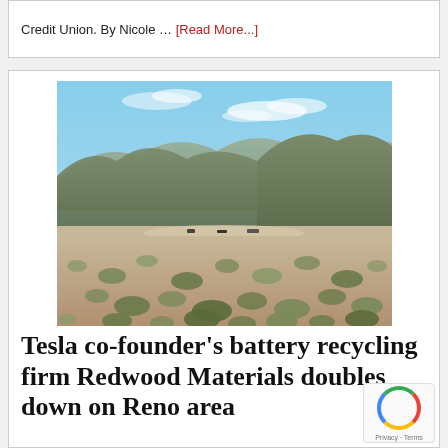Credit Union. By Nicole … [Read More...]
[Figure (photo): Desert landscape with scrub brush in the foreground, mountains in the background, and blue sky with light clouds. A flat valley floor is visible in the mid-ground with what appear to be vehicles or structures.]
Tesla co-founder's battery recycling firm Redwood Materials doubles down on Reno area
AUGUST 6, 2022 BY PAULINE LEE